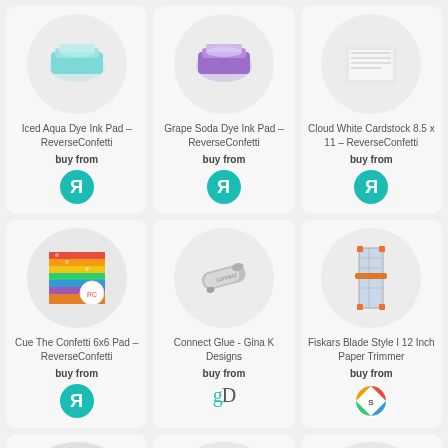Iced Aqua Dye Ink Pad – ReverseConfetti
buy from
[Figure (logo): ReverseConfetti teal circle logo with reversed R]
Grape Soda Dye Ink Pad – ReverseConfetti
buy from
[Figure (logo): ReverseConfetti teal circle logo with reversed R]
Cloud White Cardstock 8.5 x 11 – ReverseConfetti
buy from
[Figure (logo): ReverseConfetti teal circle logo with reversed R]
[Figure (photo): Cue The Confetti 6x6 paper pad with colorful patterned papers]
Cue The Confetti 6x6 Pad – ReverseConfetti
buy from
[Figure (logo): ReverseConfetti teal circle logo with reversed R]
[Figure (photo): Connect Glue pen by Gina K Designs - silver metallic pen]
Connect Glue - Gina K Designs
buy from
[Figure (logo): gD logo in teal and grey for Gina K Designs]
[Figure (photo): Fiskars Blade Style I 12 Inch Paper Trimmer with orange accents]
Fiskars Blade Style I 12 Inch Paper Trimmer
buy from
[Figure (logo): Colorful craft store logo circle]
[Figure (photo): Dark colored paper pad partially visible]
[Figure (photo): White/clear circular container partially visible]
[Figure (photo): Clear circular container partially visible]